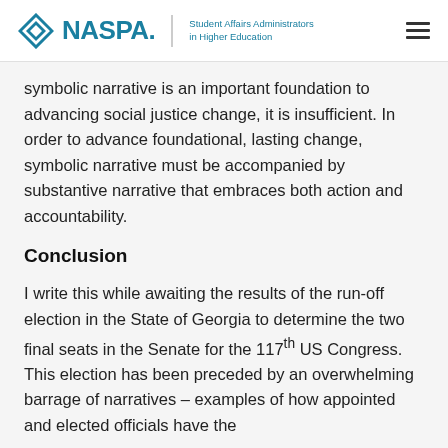NASPA | Student Affairs Administrators in Higher Education
symbolic narrative is an important foundation to advancing social justice change, it is insufficient. In order to advance foundational, lasting change, symbolic narrative must be accompanied by substantive narrative that embraces both action and accountability.
Conclusion
I write this while awaiting the results of the run-off election in the State of Georgia to determine the two final seats in the Senate for the 117th US Congress. This election has been preceded by an overwhelming barrage of narratives – examples of how appointed and elected officials have the